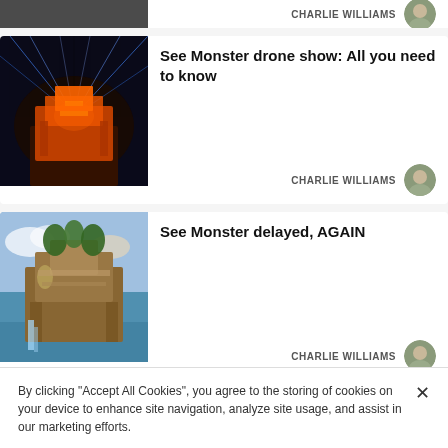[Figure (photo): Partial top card showing dark image and CHARLIE WILLIAMS author label]
[Figure (photo): Article card with orange glowing structure with laser lights - Monster drone show]
See Monster drone show: All you need to know
CHARLIE WILLIAMS
[Figure (photo): Article card with industrial structure with waterfalls and trees - See Monster delayed]
See Monster delayed, AGAIN
CHARLIE WILLIAMS
Runners graduate from Flo & Co's Couch
By clicking "Accept All Cookies", you agree to the storing of cookies on your device to enhance site navigation, analyze site usage, and assist in our marketing efforts.